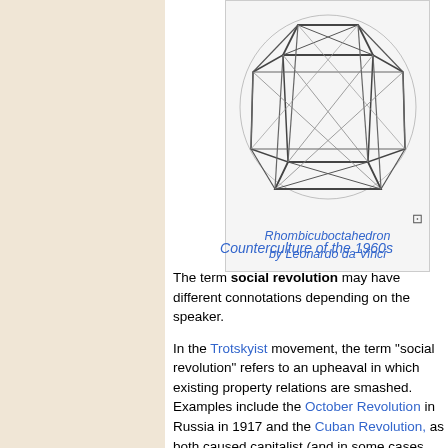[Figure (illustration): Drawing of a Rhombicuboctahedron, a geometric 3D solid with triangular and square faces forming an open skeletal wireframe structure, created by Leonardo da Vinci]
Rhombicuboctahedron by Leonardo da Vinci
Counterculture of the 1960s
The term social revolution may have different connotations depending on the speaker.
In the Trotskyist movement, the term "social revolution" refers to an upheaval in which existing property relations are smashed. Examples include the October Revolution in Russia in 1917 and the Cuban Revolution, as both caused capitalist (and in some cases pre-capitalist) property relations to turn into post-capitalist property relations as they operated by plan rather than by market. Social revolutions are contrasted with purely political revolutions